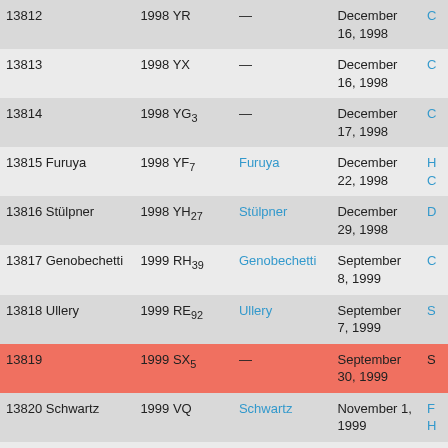| Minor planet | Provisional designation | Named after | Discovery date | ... |
| --- | --- | --- | --- | --- |
| 13812 | 1998 YR | — | December 16, 1998 |  |
| 13813 | 1998 YX | — | December 16, 1998 |  |
| 13814 | 1998 YG3 | — | December 17, 1998 |  |
| 13815 Furuya | 1998 YF7 | Furuya | December 22, 1998 |  |
| 13816 Stülpner | 1998 YH27 | Stülpner | December 29, 1998 |  |
| 13817 Genobechetti | 1999 RH39 | Genobechetti | September 8, 1999 |  |
| 13818 Ullery | 1999 RE92 | Ullery | September 7, 1999 |  |
| 13819 | 1999 SX5 | — | September 30, 1999 |  |
| 13820 Schwartz | 1999 VQ | Schwartz | November 1, 1999 |  |
| 13821 | 1999 VE8 | — | November 8, 1999 |  |
| 13822 Stevedodson | 1999 VV17 | Stevedodson | November 2, 1999 |  |
| 13823 | 1999 VO72 | — | November 15, 1999 |  |